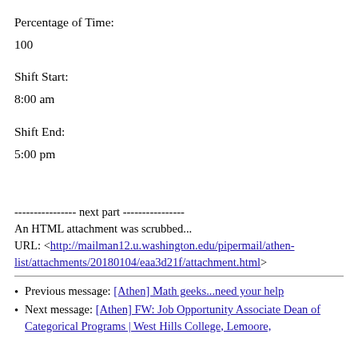Percentage of Time:
100
Shift Start:
8:00 am
Shift End:
5:00 pm
---------------- next part ----------------
An HTML attachment was scrubbed...
URL: <http://mailman12.u.washington.edu/pipermail/athen-list/attachments/20180104/eaa3d21f/attachment.html>
Previous message: [Athen] Math geeks...need your help
Next message: [Athen] FW: Job Opportunity Associate Dean of Categorical Programs | West Hills College, Lemoore,